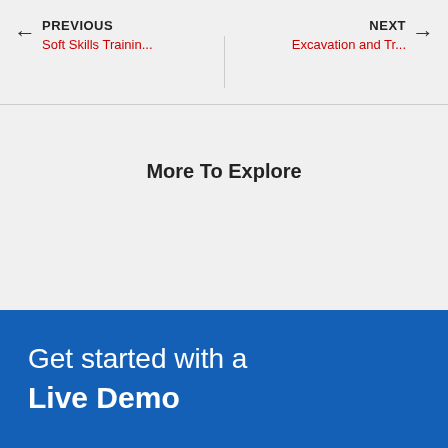PREVIOUS Soft Skills Trainin... | NEXT Excavation and Tr...
More To Explore
Get started with a Live Demo